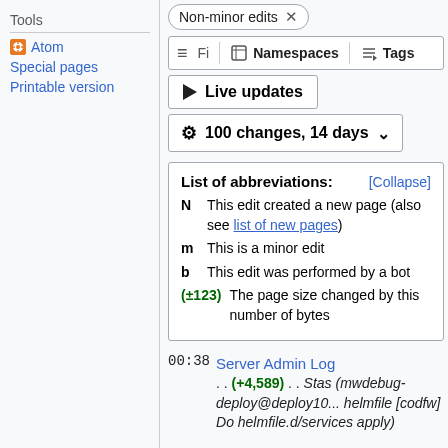Tools
Atom
Special pages
Printable version
Non-minor edits ×
≡ Fi  📄 Namespaces  🏷 Tags
▶ Live updates
⚙ 100 changes, 14 days ⌄
List of abbreviations: [Collapse]
N  This edit created a new page (also see list of new pages)
m  This is a minor edit
b  This edit was performed by a bot
(±123)  The page size changed by this number of bytes
00:38  Server Admin Log
. . (+4,589) . . Stas (mwdebug-deploy@deploy10... helmfile [codfw] Do helmfile.d/services apply)